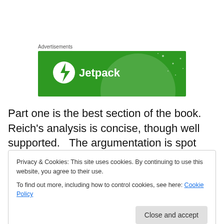Advertisements
[Figure (illustration): Jetpack advertisement banner with green background, white circle logo with lightning bolt, and 'Jetpack' text in white]
Part one is the best section of the book.   Reich's analysis is concise, though well supported.   The argumentation is spot on.   He makes strong points, develops them and
Privacy & Cookies: This site uses cookies. By continuing to use this website, you agree to their use.
To find out more, including how to control cookies, see here: Cookie Policy
dangerous social implications if nothing is done to change